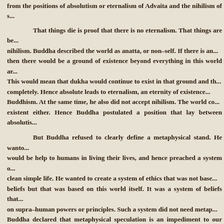from the positions of absolutism or eternalism of Advaita and the nihilism of s...
That things die is proof that there is no eternalism. That things are be... nihilism. Buddha described the world as anatta, or non–self. If there is an... then there would be a ground of existence beyond everything in this world ar... This would mean that dukha would continue to exist in that ground and th... completely. Hence absolute leads to eternalism, an eternity of existence... Buddhism. At the same time, he also did not accept nihilism. The world co... existent either. Hence Buddha postulated a position that lay between absolutis...
But Buddha refused to clearly define a metaphysical stand. He wanto... would be help to humans in living their lives, and hence preached a system o... clean simple life. He wanted to create a system of ethics that was not base... beliefs but that was based on this world itself. It was a system of beliefs that... on supra–human powers or principles. Such a system did not need metap... Buddha declared that metaphysical speculation is an impediment to our spir... metaphor of the man who has an arrow in his chest. His requirement now i... arrow, what it was made of, etc. his sole aim now would be to get the arrow o... arrow of dukha in our hearts, and the aim is to get out of this dukha by follo... not to indulge in metaphysical speculation.
Hence, because it was unnecessary, Buddha prescribed a rigid agno... metaphysical speculation. These are the 62 banned questions of Buddhism w... such as whether the soul exists or not, whether the universe exists or not...